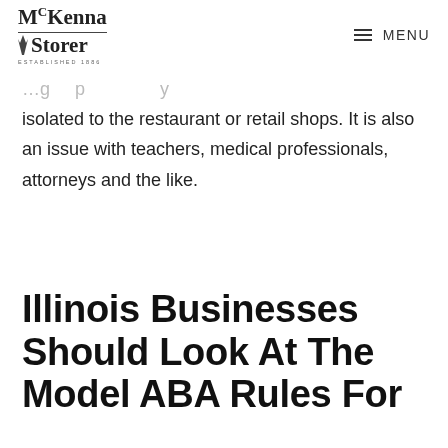McKenna Storer | MENU
…isolated to the restaurant or retail shops. It is also an issue with teachers, medical professionals, attorneys and the like.
Illinois Businesses Should Look At The Model ABA Rules For